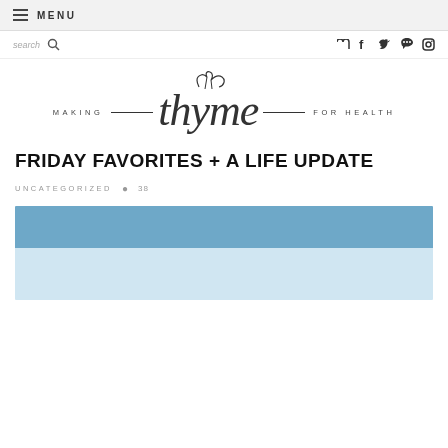≡ MENU
search 🔍  RSS f t p instagram
[Figure (logo): Making Thyme for Health blog logo with script 'thyme' text and leaf decoration, flanked by 'MAKING' and 'FOR HEALTH' in spaced capitals with horizontal rules]
FRIDAY FAVORITES + A LIFE UPDATE
UNCATEGORIZED  ● 38
[Figure (photo): Partial view of a blog post featured image with blue sky background and light blue lower portion, bottom of image cropped]